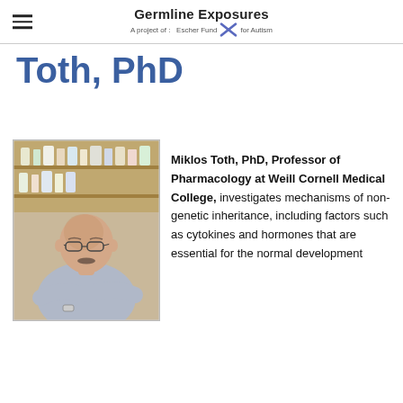Germline Exposures — A project of: Escher Fund for Autism
Toth, PhD
[Figure (photo): Portrait photo of Miklos Toth, PhD, a bald man with glasses and a mustache wearing a light blue-grey sweater, arms crossed, seated in a laboratory setting with shelves of reagents in the background.]
Miklos Toth, PhD, Professor of Pharmacology at Weill Cornell Medical College, investigates mechanisms of non-genetic inheritance, including factors such as cytokines and hormones that are essential for the normal development